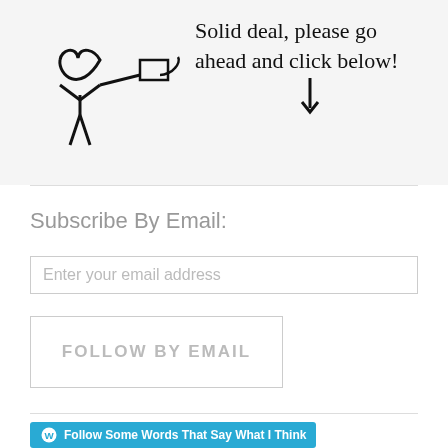[Figure (illustration): Hand-drawn illustration of a stick figure with a heart and an arrow pointing down, with handwritten text 'Solid deal, please go ahead and click below!' and a downward arrow]
Subscribe By Email:
Enter your email address
FOLLOW BY EMAIL
Follow Some Words That Say What I Think